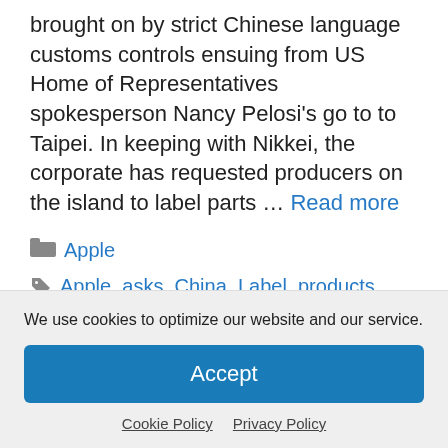brought on by strict Chinese language customs controls ensuing from US Home of Representatives spokesperson Nancy Pelosi's go to to Taipei. In keeping with Nikkei, the corporate has requested producers on the island to label parts … Read more
Categories: Apple
Tags: Apple, asks, China, Label, products, report, Suppliers, Taiwan
We use cookies to optimize our website and our service.
Accept
Cookie Policy   Privacy Policy